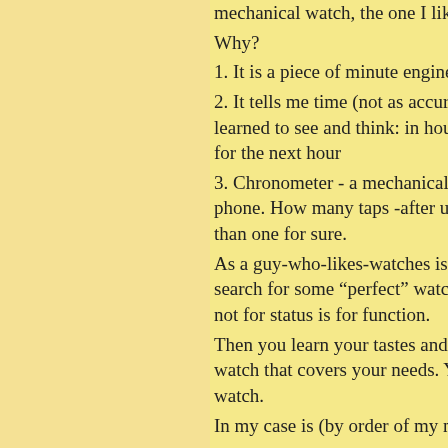mechanical watch, the one I like to w...
Why?
1. It is a piece of minute engineer to...
2. It tells me time (not as accurate) i... learned to see and think: in hours an... for the next hour
3. Chronometer - a mechanical one i... phone. How many taps -after unlock... than one for sure.
As a guy-who-likes-watches is the fi... search for some “perfect” watch. Th... not for status is for function.
Then you learn your tastes and that t... watch that covers your needs. You ha... watch.
In my case is (by order of my needs)
1. Dress
2. Tool / everyday wearer (wrong na...